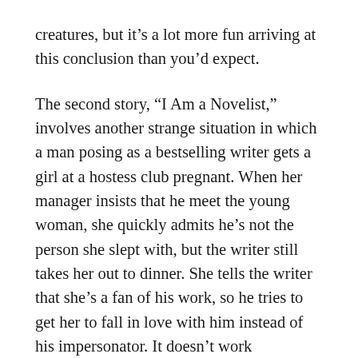creatures, but it's a lot more fun arriving at this conclusion than you'd expect.
The second story, “I Am a Novelist,” involves another strange situation in which a man posing as a bestselling writer gets a girl at a hostess club pregnant. When her manager insists that he meet the young woman, she quickly admits he’s not the person she slept with, but the writer still takes her out to dinner. She tells the writer that she’s a fan of his work, so he tries to get her to fall in love with him instead of his impersonator. It doesn’t work (obviously), and the novelist ends up finding out that he was just a minor character in someone else’s story.